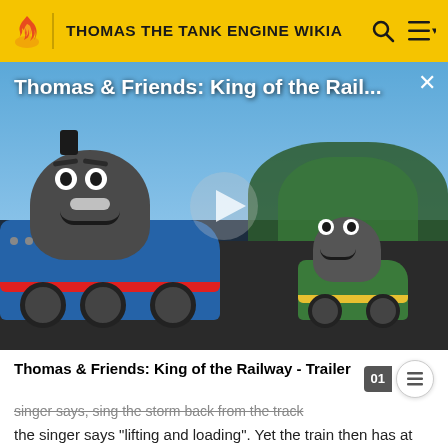THOMAS THE TANK ENGINE WIKIA
[Figure (screenshot): Video thumbnail showing animated Thomas the Tank Engine and Percy in a scene from 'King of the Railway', with a play button overlay and title 'Thomas & Friends: King of the Rail...' and a close (X) button.]
Thomas & Friends: King of the Railway - Trailer
the singer says "lifting and loading". Yet the train then has at least twenty trucks when the singer says "On the Island of Sodor".